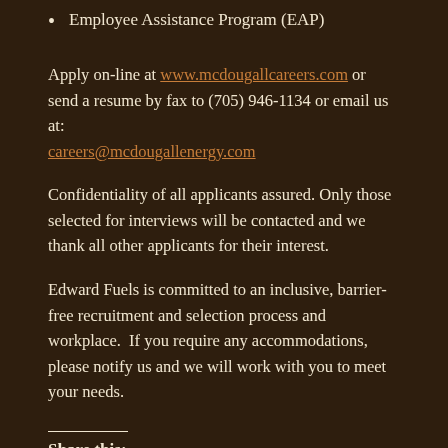Employee Assistance Program (EAP)
Apply on-line at www.mcdougallcareers.com or send a resume by fax to (705) 946-1134 or email us at: careers@mcdougallenergy.com
Confidentiality of all applicants assured. Only those selected for interviews will be contacted and we thank all other applicants for their interest.
Edward Fuels is committed to an inclusive, barrier-free recruitment and selection process and workplace.  If you require any accommodations, please notify us and we will work with you to meet your needs.
Share this: